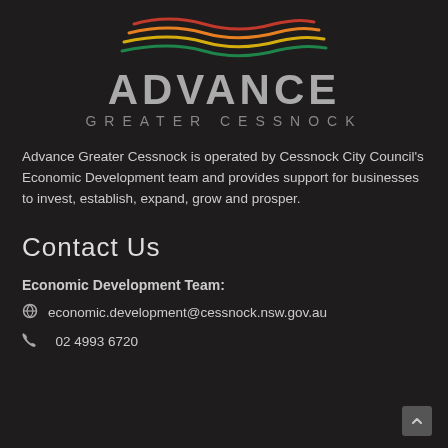[Figure (logo): Advance Greater Cessnock logo with coloured wave lines above bold grey ADVANCE text and GREATER CESSNOCK subtitle]
Advance Greater Cessnock is operated by Cessnock City Council's Economic Development team and provides support for businesses to invest, establish, expand, grow and prosper.
Contact Us
Economic Development Team:
economic.development@cessnock.nsw.gov.au
02 4993 6720